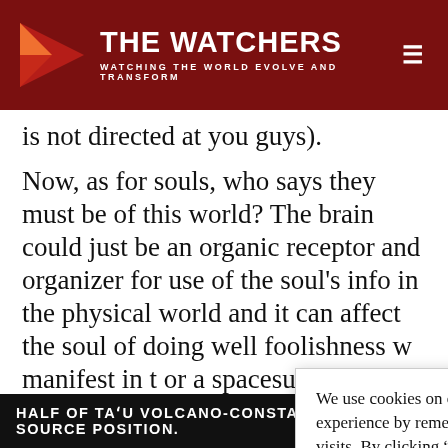THE WATCHERS — WATCHING THE WORLD EVOLVE AND TRANSFORM
is not directed at you guys).
Now, as for souls, who says they must be of this world? The brain could just be an organic receptor and organizer for use of the soul's info in the physical world and it can affect the soul of doing well foolishness w manifest in t or a spacesui exist.
We use cookies on our website to give you the most relevant experience by remembering your preferences and repeat visits. By clicking “Accept”, you consent to the use of ALL the cookies.
Do not sell my personal information.
Log in to Rep
HALF OF TAʻU VOLCANO-CONSTANT SOURCE POSITION.